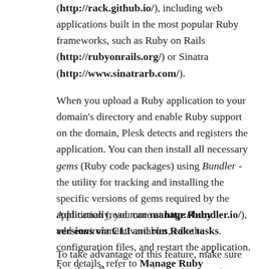(http://rack.github.io/), including web applications built in the most popular Ruby frameworks, such as Ruby on Rails (http://rubyonrails.org/) or Sinatra (http://www.sinatrarb.com/).
When you upload a Ruby application to your domain's directory and enable Ruby support on the domain, Plesk detects and registers the application. You can then install all necessary gems (Ruby code packages) using Bundler - the utility for tracking and installing the specific versions of gems required by the application (read more at http://bundler.io/), add environment variables, edit the configuration files, and restart the application. For details, refer to Manage Ruby Applications.
Additionally, you can manage Ruby versions via CLI and run Rake tasks.
To take advantage of this feature, make sure that the following requirements are met: